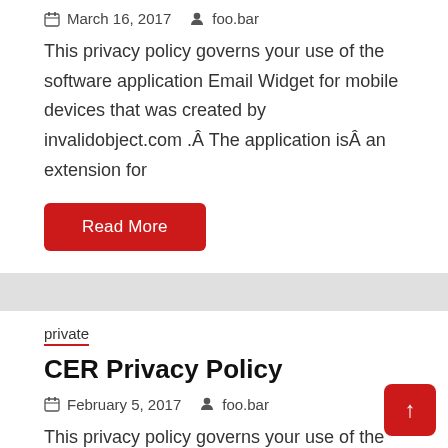March 16, 2017   foo.bar
This privacy policy governs your use of the software application Email Widget for mobile devices that was created by invalidobject.com .Â The application isÂ an extension for
Read More
private
CER Privacy Policy
February 5, 2017   foo.bar
This privacy policy governs your use of the softw application Calendar Event Reminder (CER) for m devices that was created by invalidobject.com .Â The